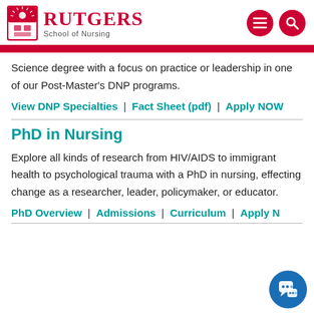[Figure (logo): Rutgers School of Nursing logo with shield emblem, red Rutgers text, and navigation icons]
Science degree with a focus on practice or leadership in one of our Post-Master's DNP programs.
View DNP Specialties | Fact Sheet (pdf) | Apply NOW
PhD in Nursing
Explore all kinds of research from HIV/AIDS to immigrant health to psychological trauma with a PhD in nursing, effecting change as a researcher, leader, policymaker, or educator.
PhD Overview | Admissions | Curriculum | Apply NOW